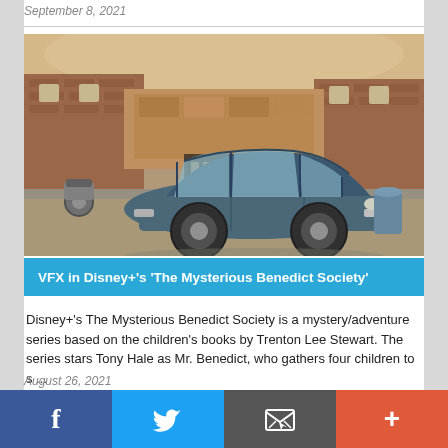September 8, 2021
[Figure (photo): A vintage blue Citroën 2CV parked in front of a brick building with a large mural on the wall, set in a European street scene.]
VFX in Disney+'s 'The Mysterious Benedict Society'
Disney+'s The Mysterious Benedict Society is a mystery/adventure series based on the children's books by Trenton Lee Stewart. The series stars Tony Hale as Mr. Benedict, who gathers four children to s ...
August 26, 2021
f  [Twitter bird]  [Email icon]  +